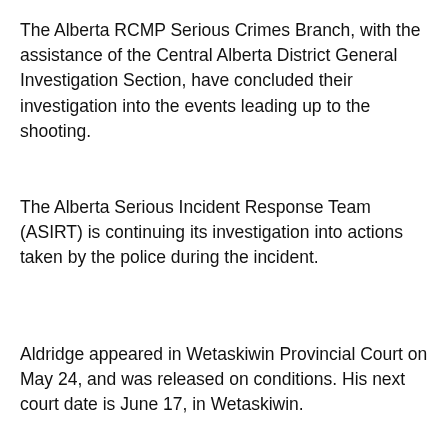The Alberta RCMP Serious Crimes Branch, with the assistance of the Central Alberta District General Investigation Section, have concluded their investigation into the events leading up to the shooting.
The Alberta Serious Incident Response Team (ASIRT) is continuing its investigation into actions taken by the police during the incident.
Aldridge appeared in Wetaskiwin Provincial Court on May 24, and was released on conditions. His next court date is June 17, in Wetaskiwin.
READ MORE: Ponoka RCMP confront armed suspect
[Figure (other): STIHL Auto Parts Plus advertisement banner]